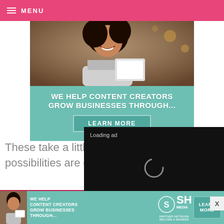MENU
[Figure (screenshot): Advertisement banner showing a smiling woman with a tablet, teal background with text 'WE HELP CONTENT CREATORS GROW BUSINESSES THROUGH...' and a 'LEARN MORE' button]
These take a little m... possibilities are end...
[Figure (screenshot): Video player overlay showing 'Loading ad' text with a spinning loader and video controls (pause, fullscreen, mute)]
[Figure (photo): Pink/magenta section with bokeh dots]
[Figure (screenshot): Bottom advertisement banner: woman with tablet, 'WE HELP CONTENT CREATORS GROW BUSINESSES THROUGH...' text, SHE Media Partner Network logo, 'LEARN MORE' button]
X